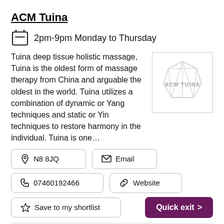ACM Tuina
2pm-9pm Monday to Thursday
Tuina deep tissue holistic massage, Tuina is the oldest form of massage therapy from China and arguable the oldest in the world. Tuina utilizes a combination of dynamic or Yang techniques and static or Yin techniques to restore harmony in the individual. Tuina is one...
[Figure (logo): ACM Tuina logo: geometric polygon/icosahedron shape outline with text ACM TUINA inside a square border]
N8 8JQ
Email
07460192466
Website
Save to my shortlist
Quick exit >